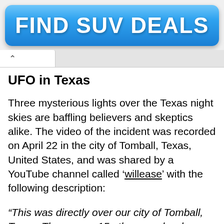[Figure (other): Blue gradient button/banner with white bold text reading 'FIND SUV DEALS']
UFO in Texas
Three mysterious lights over the Texas night skies are baffling believers and skeptics alike. The video of the incident was recorded on April 22 in the city of Tomball, Texas, United States, and was shared by a YouTube channel called 'willease' with the following description:
“This was directly over our city of Tomball, Texas. There were 15 other people who were recording together with